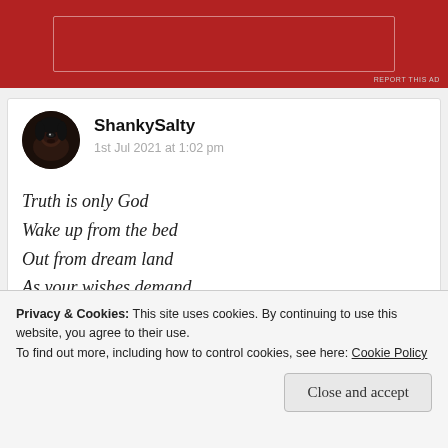[Figure (other): Red advertisement banner with white border rectangle inside]
REPORT THIS AD
ShankySalty
1st Jul 2021 at 1:02 pm

Truth is only God
Wake up from the bed
Out from dream land
As your wishes demand
Privacy & Cookies: This site uses cookies. By continuing to use this website, you agree to their use.
To find out more, including how to control cookies, see here: Cookie Policy
Close and accept
This line gave me goosebumps 😊